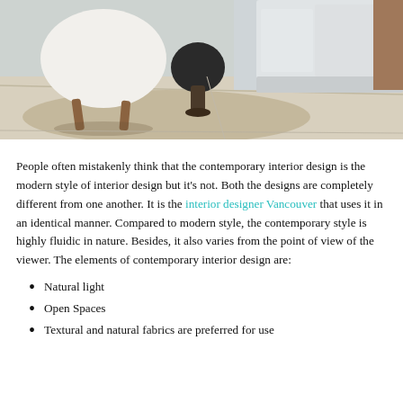[Figure (photo): Interior design photo showing a contemporary living room with a curved white chair with wooden legs, a round black side table, and a grey sofa/cabinet on the right, set on a light stone or concrete floor with a decorative rug.]
People often mistakenly think that the contemporary interior design is the modern style of interior design but it's not. Both the designs are completely different from one another. It is the interior designer Vancouver that uses it in an identical manner. Compared to modern style, the contemporary style is highly fluidic in nature. Besides, it also varies from the point of view of the viewer. The elements of contemporary interior design are:
Natural light
Open Spaces
Textural and natural fabrics are preferred for use